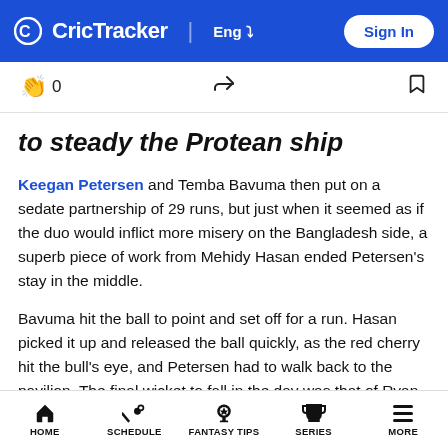CricTracker | Eng | Sign In
to steady the Protean ship
Keegan Petersen and Temba Bavuma then put on a sedate partnership of 29 runs, but just when it seemed as if the duo would inflict more misery on the Bangladesh side, a superb piece of work from Mehidy Hasan ended Petersen's stay in the middle.
Bavuma hit the ball to point and set off for a run. Hasan picked it up and released the ball quickly, as the red cherry hit the bull's eye, and Petersen had to walk back to the pavilion. The final wicket to fall in the day was that of Ryan Rickelton, who top-edged a short delivery from Ebadat Hossain straight to the fielder at mid-on.
HOME | SCHEDULE | FANTASY TIPS | SERIES | MORE